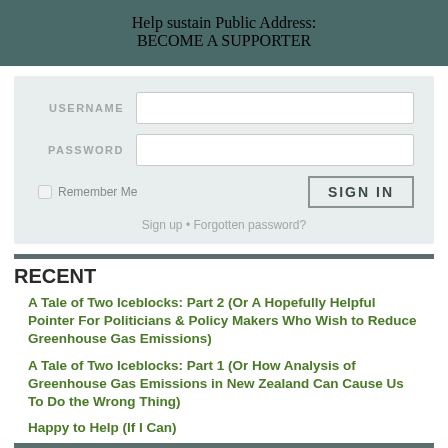Help sustain Public Address: BECOME A SUPPORTER
[Figure (screenshot): Login form with USERNAME and PASSWORD fields, Remember Me checkbox, and SIGN IN button]
Sign up • Forgotten password?
RECENT
A Tale of Two Iceblocks: Part 2 (Or A Hopefully Helpful Pointer For Politicians & Policy Makers Who Wish to Reduce Greenhouse Gas Emissions)
A Tale of Two Iceblocks: Part 1 (Or How Analysis of Greenhouse Gas Emissions in New Zealand Can Cause Us To Do the Wrong Thing)
Happy to Help (If I Can)
Southerly Archive
RSS Feed